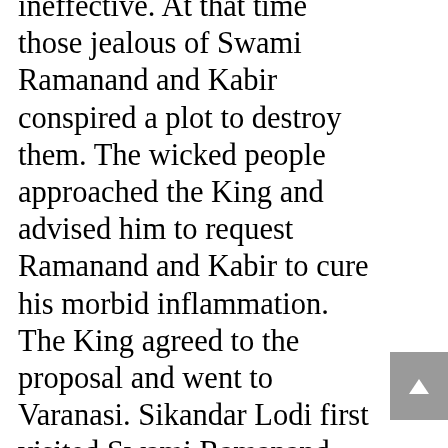ineffective. At that time those jealous of Swami Ramanand and Kabir conspired a plot to destroy them. The wicked people approached the King and advised him to request Ramanand and Kabir to cure his morbid inflammation. The King agreed to the proposal and went to Varanasi. Sikandar Lodi first visited Swami Ramanand, who refused to see him as it was against his principle to look at any Turk (a Muslim person). Now Satguru Kabir was the only hope. By the King's good fortune, Kabir appeared before him. The agonized King immediately lay prostrate before Kabir and begged him to bless and cure him.